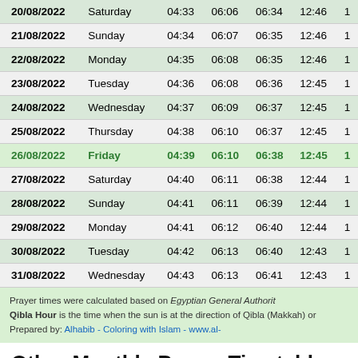| Date | Day | Col3 | Col4 | Col5 | Col6 | Col7 |
| --- | --- | --- | --- | --- | --- | --- |
| 20/08/2022 | Saturday | 04:33 | 06:06 | 06:34 | 12:46 | 1 |
| 21/08/2022 | Sunday | 04:34 | 06:07 | 06:35 | 12:46 | 1 |
| 22/08/2022 | Monday | 04:35 | 06:08 | 06:35 | 12:46 | 1 |
| 23/08/2022 | Tuesday | 04:36 | 06:08 | 06:36 | 12:45 | 1 |
| 24/08/2022 | Wednesday | 04:37 | 06:09 | 06:37 | 12:45 | 1 |
| 25/08/2022 | Thursday | 04:38 | 06:10 | 06:37 | 12:45 | 1 |
| 26/08/2022 | Friday | 04:39 | 06:10 | 06:38 | 12:45 | 1 |
| 27/08/2022 | Saturday | 04:40 | 06:11 | 06:38 | 12:44 | 1 |
| 28/08/2022 | Sunday | 04:41 | 06:11 | 06:39 | 12:44 | 1 |
| 29/08/2022 | Monday | 04:41 | 06:12 | 06:40 | 12:44 | 1 |
| 30/08/2022 | Tuesday | 04:42 | 06:13 | 06:40 | 12:43 | 1 |
| 31/08/2022 | Wednesday | 04:43 | 06:13 | 06:41 | 12:43 | 1 |
Prayer times were calculated based on Egyptian General Authorit... Qibla Hour is the time when the sun is at the direction of Qibla (Makkah) or... Prepared by: Alhabib - Coloring with Islam - www.al-...
Other Monthly Prayer Timetables for